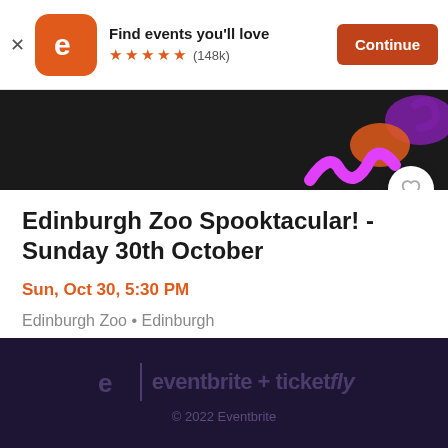[Figure (screenshot): Eventbrite app banner with logo, 'Find events you'll love', 5 stars (148k), and Continue button]
[Figure (photo): Event banner image with colorful Halloween decorations on black background, heart/favorite button]
Edinburgh Zoo Spooktacular! - Sunday 30th October
Sun, Oct 30, 5:30 PM
Edinburgh Zoo • Edinburgh
£0 - £16.63
eventbrite + ticketfly
© 2022 Eventbrite